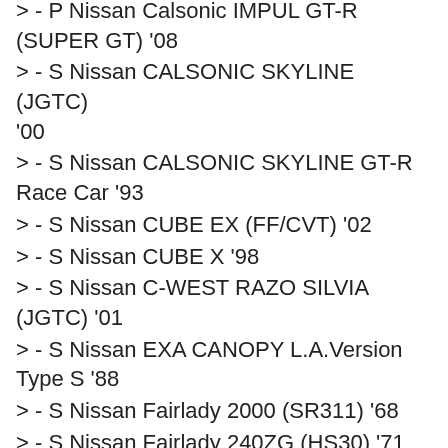> - P Nissan Calsonic IMPUL GT-R (SUPER GT) '08
> - S Nissan CALSONIC SKYLINE (JGTC) '00
> - S Nissan CALSONIC SKYLINE GT-R Race Car '93
> - S Nissan CUBE EX (FF/CVT) '02
> - S Nissan CUBE X '98
> - S Nissan C-WEST RAZO SILVIA (JGTC) '01
> - S Nissan EXA CANOPY L.A.Version Type S '88
> - S Nissan Fairlady 2000 (SR311) '68
> - S Nissan Fairlady 240ZG (HS30) '71
> - P Nissan Fairlady Z (Z34) '08
> - S Nissan Fairlady Z 280Z-L 2seater (S130) '78
> - S Nissan Fairlady Z 300ZX (Z31) '83
> - P/S Nissan Fairlady Z 300ZX Twin Turbo 2seater (Z32) '89